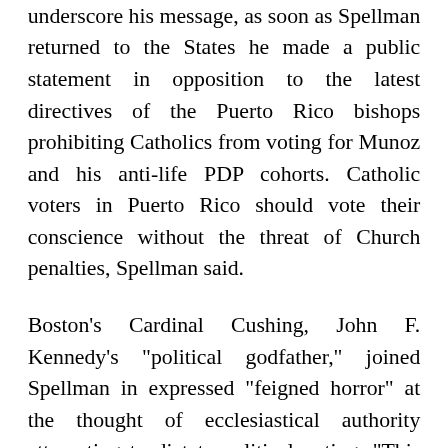underscore his message, as soon as Spellman returned to the States he made a public statement in opposition to the latest directives of the Puerto Rico bishops prohibiting Catholics from voting for Munoz and his anti-life PDP cohorts. Catholic voters in Puerto Rico should vote their conscience without the threat of Church penalties, Spellman said.
Boston's Cardinal Cushing, John F. Kennedy's "political godfather," joined Spellman in expressed "feigned horror" at the thought of ecclesiastical authority attempting to dictate political voting. "This has never been a part of our history, and I pray God that it will never be!" said Cushing. Cushing's main